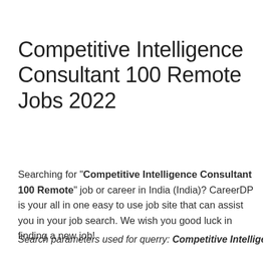Competitive Intelligence Consultant 100 Remote Jobs 2022
Searching for "Competitive Intelligence Consultant 100 Remote" job or career in India (India)? CareerDP is your all in one easy to use job site that can assist you in your job search. We wish you good luck in finding a new job!
Search parameters used for querry: Competitive Intelligence